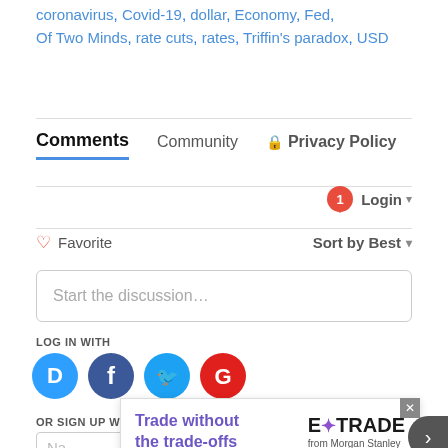coronavirus, Covid-19, dollar, Economy, Fed, Of Two Minds, rate cuts, rates, Triffin's paradox, USD
Comments   Community   Privacy Policy
1  Login ▾
♡ Favorite   Sort by Best ▾
Start the discussion...
LOG IN WITH
[Figure (other): Social login icons: Disqus (D), Facebook (f), Twitter bird, Google (G)]
OR SIGN UP WITH DISQUS ?
Na
[Figure (other): E*TRADE advertisement: Trade without the trade-offs, E*TRADE from Morgan Stanley logo]